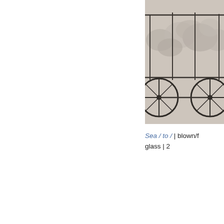[Figure (photo): Partial view of a glass sculpture resembling a carriage or cart with metal wire frame wheels, containing blown glass forms, shown against a light gray background. Only the right portion of the image is visible.]
Sea / to /  |  blown/f  glass  |  2